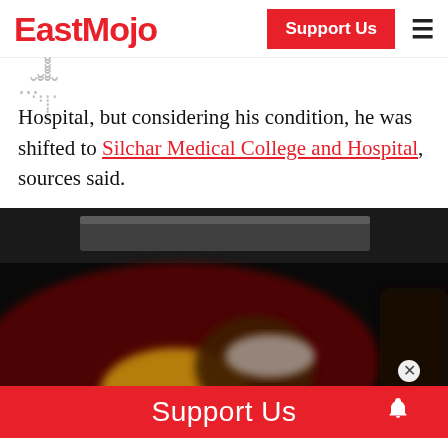EastMojo | Support Us
…heSpecialThad to Cakningly, Civil Hospital, but considering his condition, he was shifted to Silchar Medical College and Hospital, sources said.
[Figure (photo): Blurred photo of a person lying down, apparently injured, with a yellow garment and head bandage visible, dark background]
Support Us